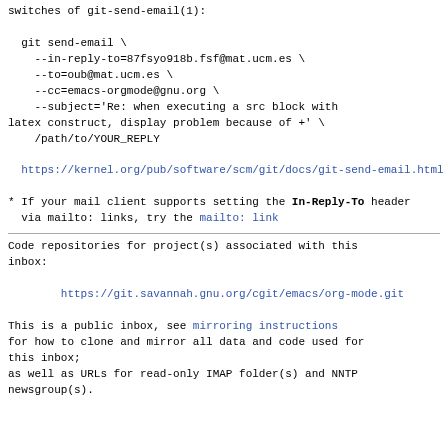switches of git-send-email(1):
git send-email \
    --in-reply-to=87fsyo918b.fsf@mat.ucm.es \
    --to=oub@mat.ucm.es \
    --cc=emacs-orgmode@gnu.org \
    --subject='Re: when executing a src block with latex construct, display problem because of +' \
    /path/to/YOUR_REPLY
https://kernel.org/pub/software/scm/git/docs/git-send-email.html
* If your mail client supports setting the In-Reply-To header
  via mailto: links, try the mailto: link
Code repositories for project(s) associated with this inbox:
https://git.savannah.gnu.org/cgit/emacs/org-mode.git
This is a public inbox, see mirroring instructions
for how to clone and mirror all data and code used for this inbox;
as well as URLs for read-only IMAP folder(s) and NNTP
newsgroup(s).